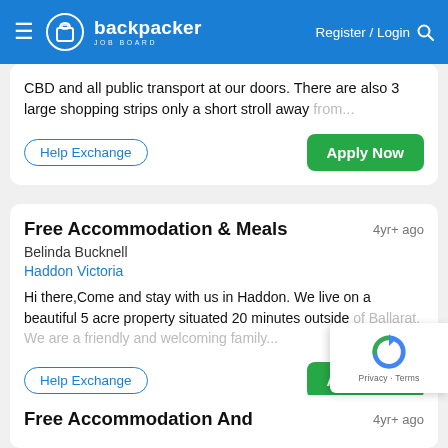backpacker JOB BOARD | Register / Login
CBD and all public transport at our doors. There are also 3 large shopping strips only a short stroll away from...
Help Exchange | Apply Now
Free Accommodation & Meals
4yr+ ago
Belinda Bucknell
Haddon Victoria
Hi there,Come and stay with us in Haddon. We live on a beautiful 5 acre property situated 20 minutes outside of Ballarat. We are a friendly and welcoming family...
Help Exchange | Apply Now
Free Accommodation And
4yr+ ago